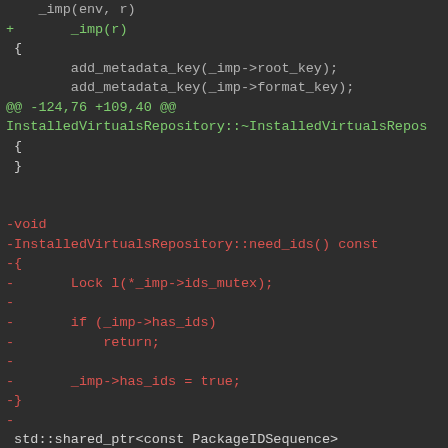[Figure (screenshot): A code diff screenshot showing C++ source code changes in a dark-themed editor. Lines in green represent additions, lines in red represent deletions, and white/gray lines are context. The diff shows InstalledVirtualsRepository class methods including constructor, destructor, need_ids(), and package_ids().]